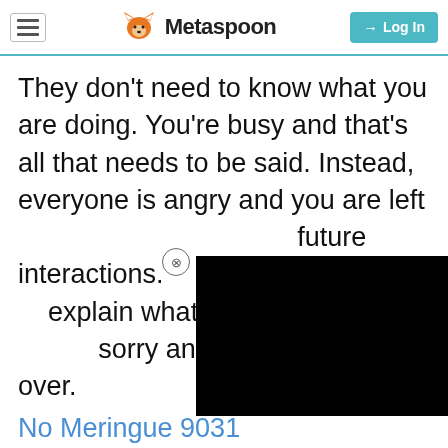Metaspoon — navigation bar with hamburger menu, fox logo, and Log In button
They don't need to know what you are doing. You're busy and that's all that needs to be said. Instead, everyone is angry and you are le[ft dealing with] future interactions. [You should] explain what happen[ed, say you're] sorry and hopefully it'll be over.
No Meringue 9031